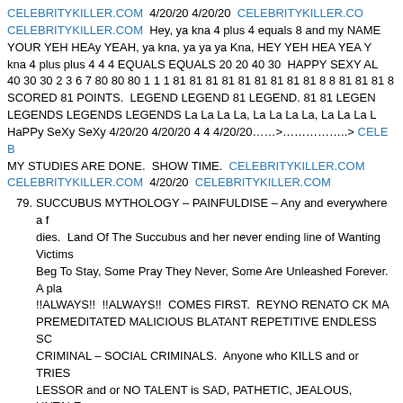CELEBRITYKILLER.COM  4/20/20 4/20/20  CELEBRITYKILLER.COM  CELEBRITYKILLER.COM  Hey, ya kna 4 plus 4 equals 8 and my NAME YOUR YEH HEAy YEAH, ya kna, ya ya ya Kna, HEY YEH HEA YEA Y kna 4 plus plus 4 4 4 EQUALS EQUALS 20 20 40 30  HAPPY SEXY AL 40 30 30 2 3 6 7 80 80 80 1 1 1 81 81 81 81 81 81 81 81 81 8 8 81 81 81 8 SCORED 81 POINTS.  LEGEND LEGEND 81 LEGEND. 81 81 LEGEN LEGENDS LEGENDS LEGENDS La La La La, La La La La, La La La L HaPPy SeXy SeXy 4/20/20 4/20/20 4 4 4/20/20……>……………..> CELEB MY STUDIES ARE DONE.  SHOW TIME.  CELEBRITYKILLER.COM  CELEBRITYKILLER.COM  4/20/20  CELEBRITYKILLER.COM
79. SUCCUBUS MYTHOLOGY – PAINFULDISE – Any and everywhere a f dies.  Land Of The Succubus and her never ending line of Wanting Victims Beg To Stay, Some Pray They Never, Some Are Unleashed Forever.  A pla !!ALWAYS!!  !!ALWAYS!!  COMES FIRST.  REYNO RENATO CK MA PREMEDITATED MALICIOUS BLATANT REPETITIVE ENDLESS SC CRIMINAL – SOCIAL CRIMINALS.  Anyone who KILLS and or TRIES LESSOR and or NO TALENT is SAD, PATHETIC, JEALOUS, UNTALE INSECURE, NOT HAPPY WITH THEM SELVES, SHITS CRUDE SHIT